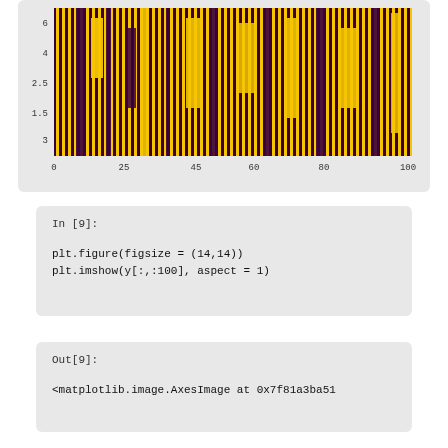[Figure (other): Heatmap visualization showing a matrix of yellow and dark purple (maroon) vertical bars pattern, with y-axis values from roughly 2 to 6 and x-axis from 0 to 100. The image is cropped at the top.]
In [9]:
plt.figure(figsize = (14,14))
plt.imshow(y[:,:100], aspect = 1)
Out[9]:
<matplotlib.image.AxesImage at 0x7f81a3ba51